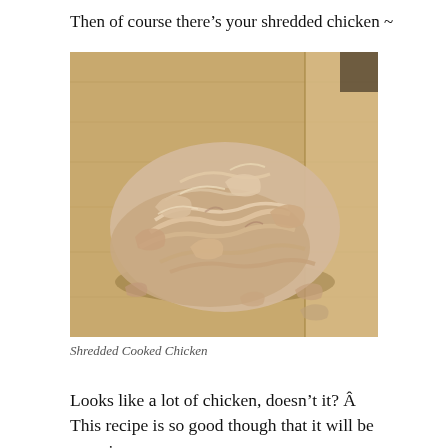Then of course there's your shredded chicken ~
[Figure (photo): A pile of shredded cooked chicken on a wooden cutting board]
Shredded Cooked Chicken
Looks like a lot of chicken, doesn't it? Â This recipe is so good though that it will be gone in